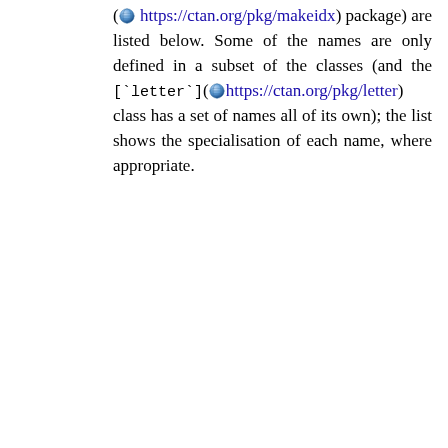(🌐 https://ctan.org/pkg/makeidx) package) are listed below. Some of the names are only defined in a subset of the classes (and the [`letter`](🌐 https://ctan.org/pkg/letter) class has a set of names all of its own); the list shows the specialisation of each name, where appropriate.
| Command | Default definition |  |
| --- | --- | --- |
| `\abstractname` | Abstract |  |
| `\alsoname` | see also ([`makeidx`](https://ctan.org/pkg/makeidx) package) |  |
| `\appendixname` | Appendix |  |
| `\bibname` | Bibliography ([`report`](https://ctan.org/pkg/report), [`book`](https://ctan.org/pkg/book)) |  |
| `\ccname` | cc ([`letter`] |  |